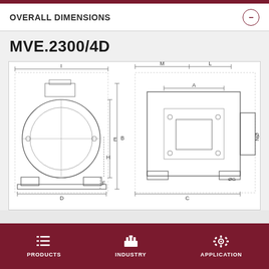OVERALL DIMENSIONS
MVE.2300/4D
[Figure (engineering-diagram): Two orthographic views (front and side) of the MVE.2300/4D vibration motor. Left view shows circular front face with mounting feet, labeled with dimensions I (width), D (base width), E (height from base to top of body), H (mid-height), F (foot height), B (body height). Right view shows top/side profile labeled with dimensions M, L (top widths), A (upper body width), C (base width), B (height), ØN (shaft/output diameter on right side), ØG (mounting hole diameter lower right).]